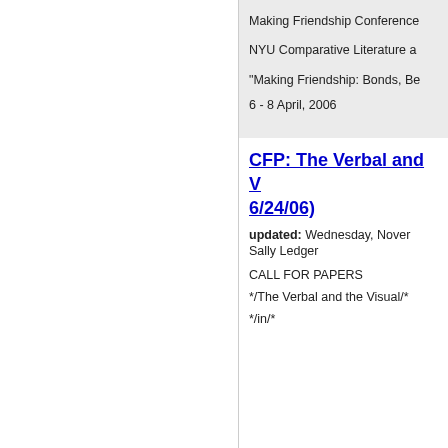Making Friendship Conference
NYU Comparative Literature a
"Making Friendship: Bonds, Be
6 - 8 April, 2006
CFP: The Verbal and V (6/24/06)
updated: Wednesday, Nover
Sally Ledger
CALL FOR PAPERS
*/The Verbal and the Visual/*
*/in/*